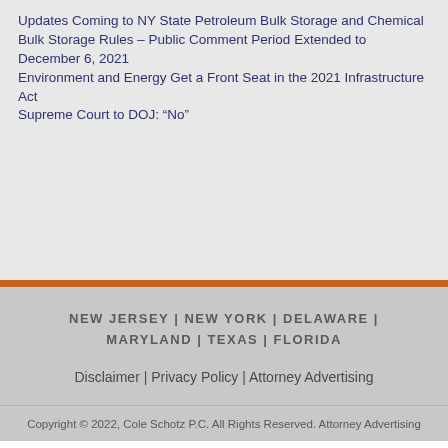Updates Coming to NY State Petroleum Bulk Storage and Chemical Bulk Storage Rules – Public Comment Period Extended to December 6, 2021
Environment and Energy Get a Front Seat in the 2021 Infrastructure Act
Supreme Court to DOJ: “No”
NEW JERSEY | NEW YORK | DELAWARE | MARYLAND | TEXAS | FLORIDA
Disclaimer | Privacy Policy | Attorney Advertising
Copyright © 2022, Cole Schotz P.C. All Rights Reserved. Attorney Advertising